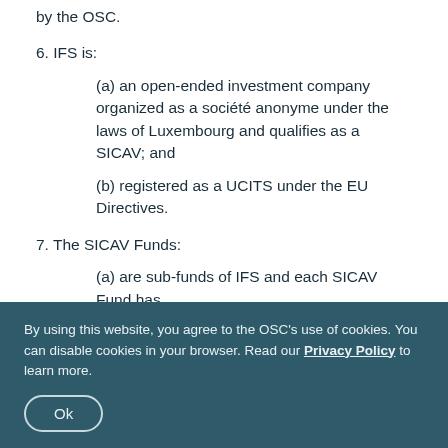by the OSC.
6. IFS is:
(a) an open-ended investment company organized as a société anonyme under the laws of Luxembourg and qualifies as a SICAV; and
(b) registered as a UCITS under the EU Directives.
7. The SICAV Funds:
(a) are sub-funds of IFS and each SICAV Fund has
By using this website, you agree to the OSC's use of cookies. You can disable cookies in your browser. Read our Privacy Policy to learn more.
Ok